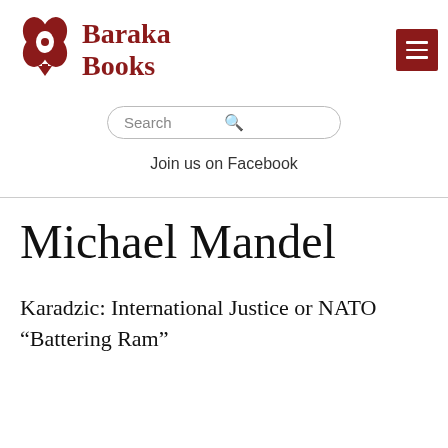[Figure (logo): Baraka Books logo with decorative flower/book icon in dark red and bold serif text 'Baraka Books' in dark red]
Search
Join us on Facebook
Michael Mandel
Karadzic: International Justice or NATO “Battering Ram”